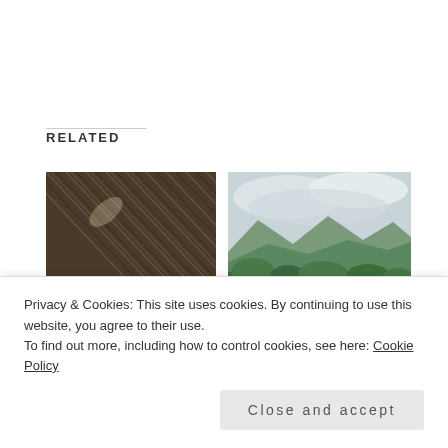RELATED
[Figure (photo): Close-up texture photo — dark brown streaked diagonal lines, possibly rain on a surface or scratched dark wood]
Light trail that never ends..
November 4, 2013
In "Landscape Photography"
[Figure (photo): Landscape photo — green rolling hills and mountains under a cloudy sky, lush vegetation in foreground]
View from dodda ragihalli betta- Bannerghatta Natioanl park
October 10, 2009
Privacy & Cookies: This site uses cookies. By continuing to use this website, you agree to their use.
To find out more, including how to control cookies, see here: Cookie Policy
Close and accept